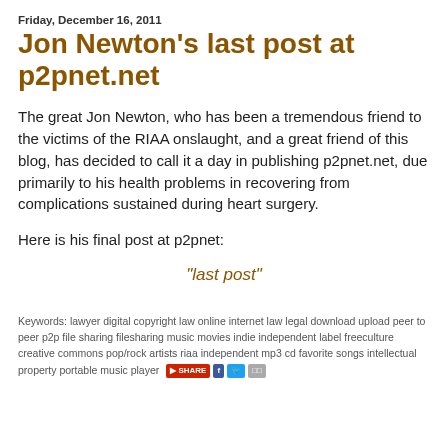Friday, December 16, 2011
Jon Newton's last post at p2pnet.net
The great Jon Newton, who has been a tremendous friend to the victims of the RIAA onslaught, and a great friend of this blog, has decided to call it a day in publishing p2pnet.net, due primarily to his health problems in recovering from complications sustained during heart surgery.
Here is his final post at p2pnet:
"last post"
Keywords: lawyer digital copyright law online internet law legal download upload peer to peer p2p file sharing filesharing music movies indie independent label freeculture creative commons pop/rock artists riaa independent mp3 cd favorite songs intellectual property portable music player